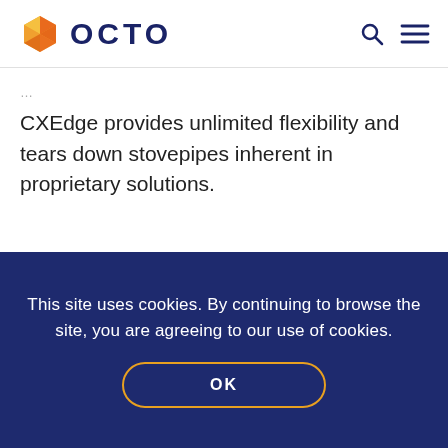OCTO
CXEdge provides unlimited flexibility and tears down stovepipes inherent in proprietary solutions.
[Figure (photo): Dark atmospheric image with teal/cyan smoke and a partial globe or world map shape visible, dark background]
This site uses cookies. By continuing to browse the site, you are agreeing to our use of cookies.